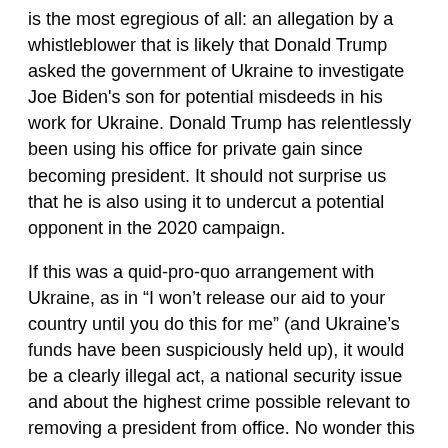is the most egregious of all: an allegation by a whistleblower that is likely that Donald Trump asked the government of Ukraine to investigate Joe Biden's son for potential misdeeds in his work for Ukraine. Donald Trump has relentlessly been using his office for private gain since becoming president. It should not surprise us that he is also using it to undercut a potential opponent in the 2020 campaign.
If this was a quid-pro-quo arrangement with Ukraine, as in “I won’t release our aid to your country until you do this for me” (and Ukraine’s funds have been suspiciously held up), it would be a clearly illegal act, a national security issue and about the highest crime possible relevant to removing a president from office. No wonder this whistleblower felt compelled to blow the whistle. Compared to Hillary’s “crime”, it’s at least a thousand times worse.
So you would think Congress would be doing something to hold Trump accountable. House committees hold sporadic hearings where subpoenaed witnesses rarely show up. The Trump Administration simply stonewalls all Congressional subpoenas and witnesses. Trump claims powers that he doesn’t have. For